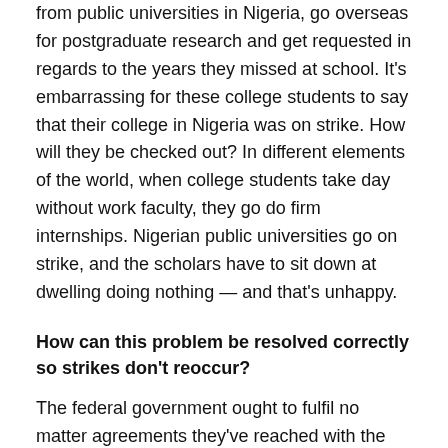from public universities in Nigeria, go overseas for postgraduate research and get requested in regards to the years they missed at school. It's embarrassing for these college students to say that their college in Nigeria was on strike. How will they be checked out? In different elements of the world, when college students take day without work faculty, they go do firm internships. Nigerian public universities go on strike, and the scholars have to sit down at dwelling doing nothing — and that's unhappy.
How can this problem be resolved correctly so strikes don't reoccur?
The federal government ought to fulfil no matter agreements they've reached with the college lecturers. On the identical time, lecturers have to be clear and accountable to the college system. Some researchers get awarded grants by the federal government, however they fail to submit their stories, even after ten years. So, either side have to be clear and accountable — the federal government ought to fulfil its commitments, and scientists should abide by the tenets of integrity that they're asking